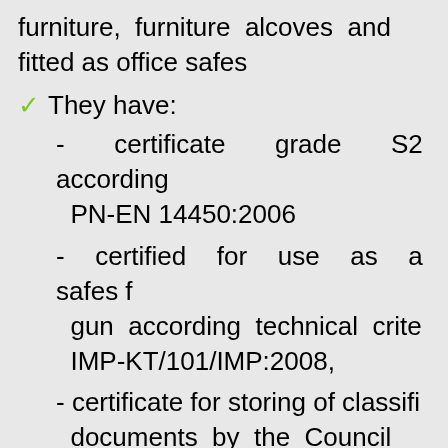furniture, furniture alcoves and fitted as office safes
They have:
- certificate grade S2 according PN-EN 14450:2006
- certified for use as a safes for gun according technical criteria IMP-KT/101/IMP:2008,
- certificate for storing of classified documents by the Council of Ministers of 29 May 2012 (type